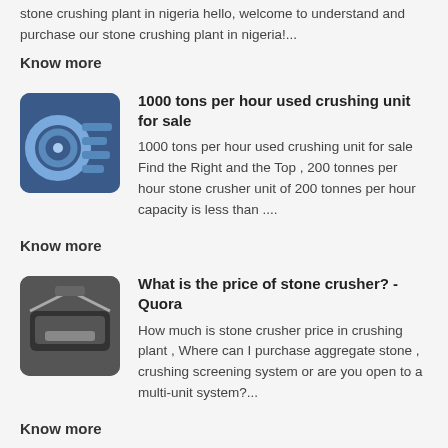stone crushing plant in nigeria hello, welcome to understand and purchase our stone crushing plant in nigeria!...
Know more
1000 tons per hour used crushing unit for sale
1000 tons per hour used crushing unit for sale Find the Right and the Top , 200 tonnes per hour stone crusher unit of 200 tonnes per hour capacity is less than ....
Know more
What is the price of stone crusher? - Quora
How much is stone crusher price in crushing plant , Where can I purchase aggregate stone , crushing screening system or are you open to a multi-unit system?...
Know more
Stone Crusher - Manufacturers, Suppliers & Wholesalers
Business listings of Stone Crusher manufacturers, suppliers